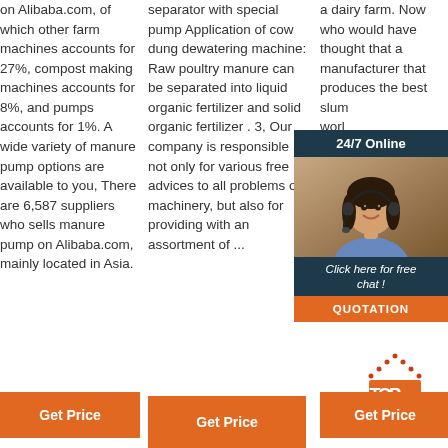on Alibaba.com, of which other farm machines accounts for 27%, compost making machines accounts for 8%, and pumps accounts for 1%. A wide variety of manure pump options are available to you, There are 6,587 suppliers who sells manure pump on Alibaba.com, mainly located in Asia.
separator with special pump Application of cow dung dewatering machine: Raw poultry manure can be separated into liquid organic fertilizer and solid organic fertilizer . 3, Our company is responsible not only for various free advices to all problems on machinery, but also for providing with an assortment of ...
a dairy farm. Now who would have thought that a manufacturer that produces the best slurry ... worldwide, upon ... pump pump pump pump ... The ... installation begins ... the ... lockdown.
[Figure (infographic): 24/7 Online chat widget with woman wearing headset, Click here for free chat button, and QUOTATION orange button]
[Figure (other): TOP arrow icon with dotted top and orange rectangle with letter P]
Get Price
Get Price
Get Price